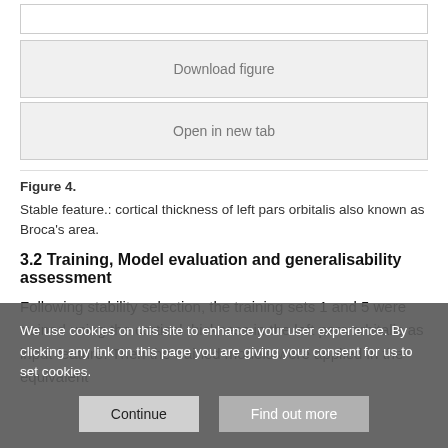[Figure (other): Download figure button area (UI element)]
[Figure (other): Open in new tab button area (UI element)]
Figure 4.
Stable feature.: cortical thickness of left pars orbitalis also known as Broca's area.
3.2 Training, Model evaluation and generalisability assessment
Following stability selection, the training sets 1 and 5 were trained using the cortical thickness in the left pars orbitalis as input feature. Then the trained models were applied in the equivalent
We use cookies on this site to enhance your user experience. By clicking any link on this page you are giving your consent for us to set cookies.